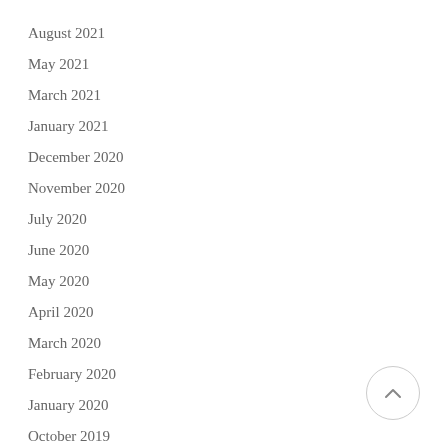August 2021
May 2021
March 2021
January 2021
December 2020
November 2020
July 2020
June 2020
May 2020
April 2020
March 2020
February 2020
January 2020
October 2019